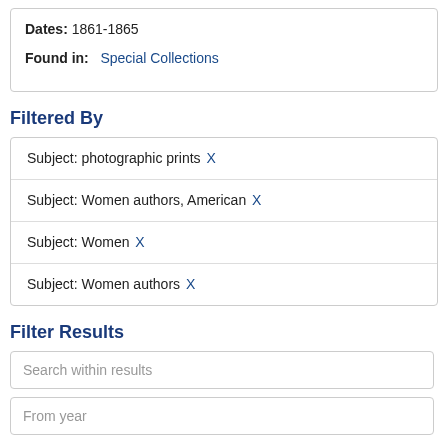Dates: 1861-1865
Found in: Special Collections
Filtered By
Subject: photographic prints X
Subject: Women authors, American X
Subject: Women X
Subject: Women authors X
Filter Results
Search within results
From year